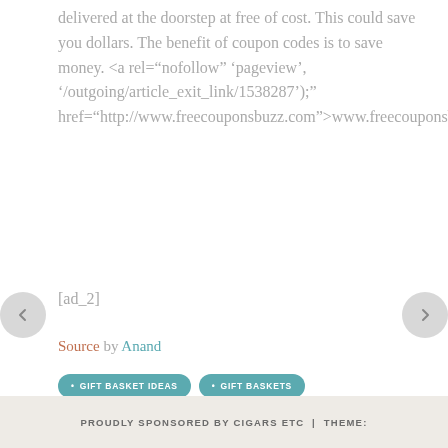delivered at the doorstep at free of cost. This could save you dollars. The benefit of coupon codes is to save money. <a rel="nofollow" onclick="javascript:ga('send', 'pageview', '/outgoing/article_exit_link/1538287');" href="http://www.freecouponsbuzz.com">www.freecouponsbuzz.com</a>
[ad_2]
Source by Anand
GIFT BASKET IDEAS
GIFT BASKETS
GIFT BASKETS FOR CHRISTMAS
GIFT BASKETS FOR DELIVERY
PROUDLY SPONSORED BY CIGARS ETC | THEME: